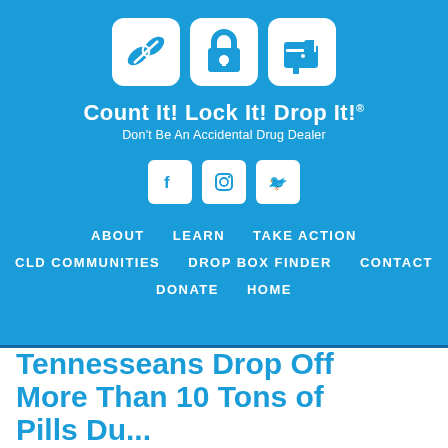[Figure (logo): Count It! Lock It! Drop It! logo with three white rounded square icons showing pills, a padlock, and a drop box on a blue background, with brand name and tagline below]
[Figure (infographic): Social media icons for Facebook, Instagram, and Twitter in white rounded square boxes on blue background]
ABOUT   LEARN   TAKE ACTION   CLD COMMUNITIES   DROP BOX FINDER   CONTACT   DONATE   HOME
Tennesseans Drop Off More Than 10 Tons of Pills Du...